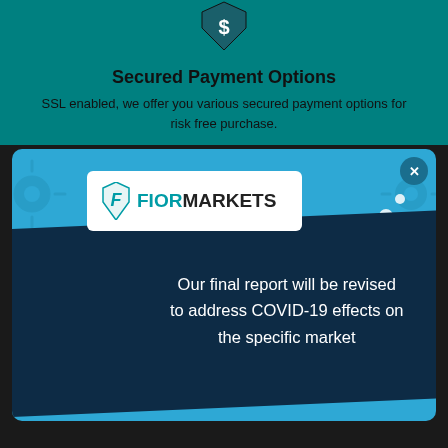Secured Payment Options
SSL enabled, we offer you various secured payment options for risk free purchase.
[Figure (screenshot): Fior Markets modal popup with blue background showing COVID-19 report revision notice. Contains Fior Markets logo on white card, diagonal dark navy banner with text about COVID-19 report revision, decorative elements including virus icons and geometric lines. Close button (x) in top right corner.]
Company
Quick Links
About Us
Contact Us
FAQs
Privacy Policy